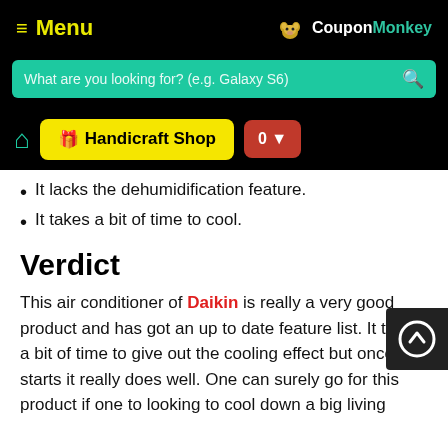≡ Menu | CouponMonkey
It lacks the dehumidification feature.
It takes a bit of time to cool.
Verdict
This air conditioner of Daikin is really a very good product and has got an up to date feature list. It takes a bit of time to give out the cooling effect but once it starts it really does well. One can surely go for this product if one to looking to cool down a big living